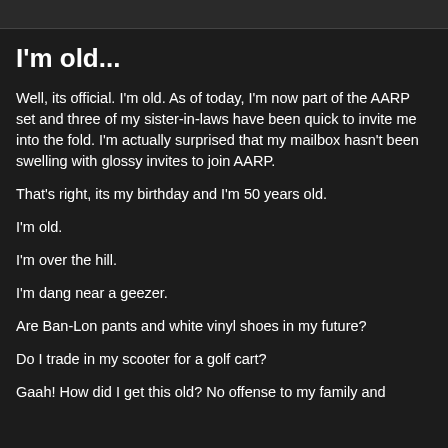I'm old...
Well, its official. I'm old. As of today, I'm now part of the AARP set and three of my sister-in-laws have been quick to invite me into the fold. I'm actually surprised that my mailbox hasn't been swelling with glossy invites to join AARP.
That's right, its my birthday and I'm 50 years old.
I'm old.
I'm over the hill.
I'm dang near a geezer.
Are Ban-Lon pants and white vinyl shoes in my future?
Do I trade in my scooter for a golf cart?
Gaah! How did I get this old? No offense to my family and